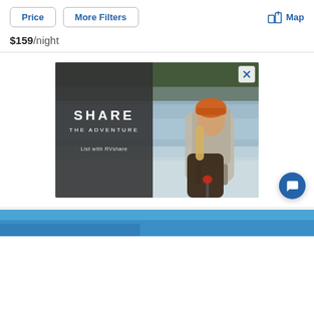Price | More Filters | Map
$159 /night
[Figure (photo): Advertisement for RVshare. Background shows a scenic misty lake with trees. A woman with blonde hair wearing an orange beanie hat and large grey hiking backpack stands in the foreground. On the left side, a dark grey overlay panel reads SHARE / THE ADVENTURE / List with RVshare in white text. An X close button appears in the top right corner.]
[Figure (photo): Partial view of a blue-sky outdoor scene at the very bottom of the page, partially cut off.]